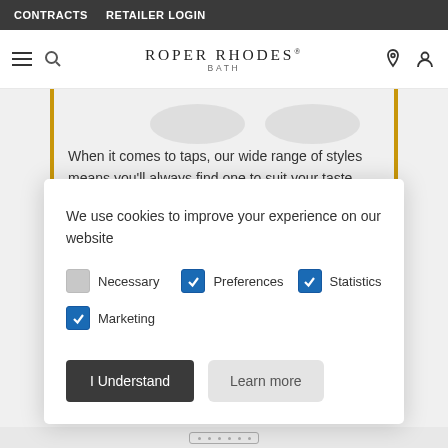CONTRACTS   RETAILER LOGIN
[Figure (screenshot): Roper Rhodes Bath website header with hamburger menu, search icon, logo, location pin and user account icons]
When it comes to taps, our wide range of styles means you'll always find one to suit your taste. Why not take your design one step further and
We use cookies to improve your experience on our website
Necessary
Preferences
Statistics
Marketing
I Understand   Learn more